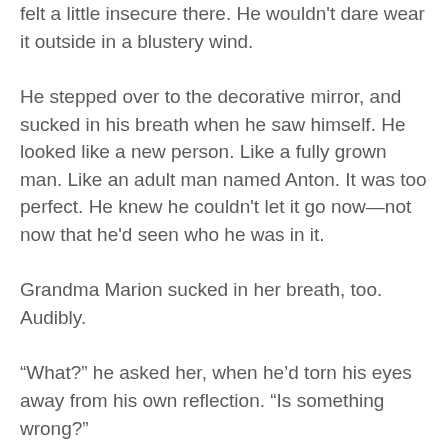felt a little insecure there. He wouldn't dare wear it outside in a blustery wind.
He stepped over to the decorative mirror, and sucked in his breath when he saw himself. He looked like a new person. Like a fully grown man. Like an adult man named Anton. It was too perfect. He knew he couldn't let it go now—not now that he'd seen who he was in it.
Grandma Marion sucked in her breath, too. Audibly.
“What?” he asked her, when he’d torn his eyes away from his own reflection. “Is something wrong?”
“You look so much like him when I first met him. It took my breath away